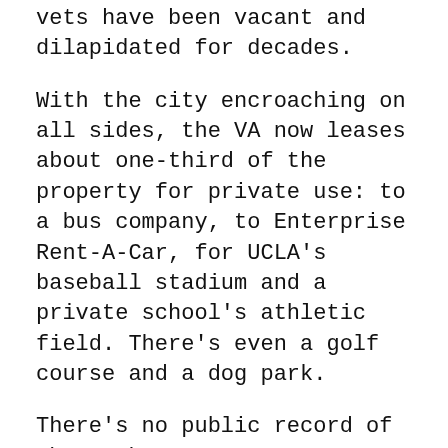vets have been vacant and dilapidated for decades.
With the city encroaching on all sides, the VA now leases about one-third of the property for private use: to a bus company, to Enterprise Rent-A-Car, for UCLA's baseball stadium and a private school's athletic field. There's even a golf course and a dog park.
There's no public record of where the money goes.
"I just get furious about it," says Bobby Shriver.
For seven years, Shriver the former mayor of